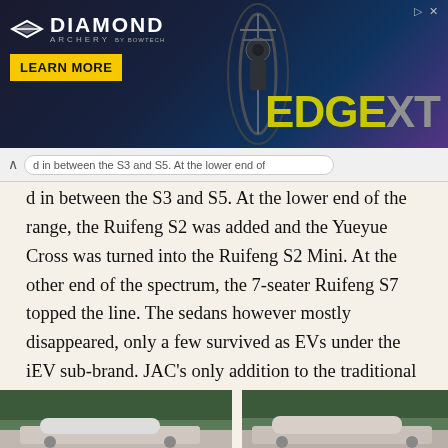[Figure (illustration): Diamond Archery advertisement banner featuring the Edge XT bow product with a yellow 'LEARN MORE' button on a dark background]
d in between the S3 and S5. At the lower end of the range, the Ruifeng S2 was added and the Yueyue Cross was turned into the Ruifeng S2 Mini. At the other end of the spectrum, the 7-seater Ruifeng S7 topped the line. The sedans however mostly disappeared, only a few survived as EVs under the iEV sub-brand. JAC's only addition to the traditional car segment was another attempt to make a large sedan. This was the Ruifeng A60, designed to go up against the Toyota Camry and alike.
[Figure (photo): Two car photos at the bottom of the page showing JAC vehicles, partially cut off]